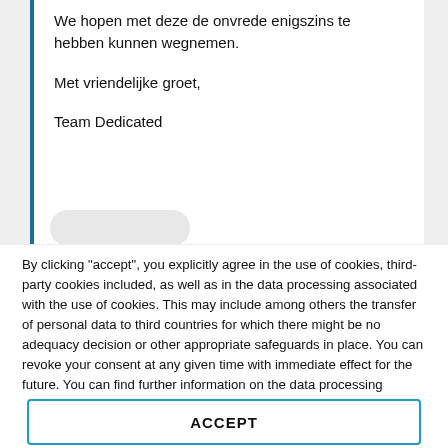We hopen met deze de onvrede enigszins te hebben kunnen wegnemen.
Met vriendelijke groet,
Team Dedicated
By clicking "accept", you explicitly agree in the use of cookies, third-party cookies included, as well as in the data processing associated with the use of cookies. This may include among others the transfer of personal data to third countries for which there might be no adequacy decision or other appropriate safeguards in place. You can revoke your consent at any given time with immediate effect for the future. You can find further information on the data processing purposes, opt-out options, your rights, and the risks of data transfers to third countries here.
ACCEPT